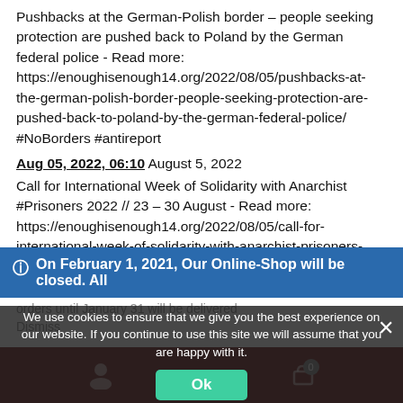Pushbacks at the German-Polish border – people seeking protection are pushed back to Poland by the German federal police - Read more: https://enoughisenough14.org/2022/08/05/pushbacks-at-the-german-polish-border-people-seeking-protection-are-pushed-back-to-poland-by-the-german-federal-police/ #NoBorders #antireport
Aug 05, 2022, 06:10 August 5, 2022
Call for International Week of Solidarity with Anarchist #Prisoners 2022 // 23 – 30 August - Read more: https://enoughisenough14.org/2022/08/05/call-for-international-week-of-solidarity-with-anarchist-prisoners-2022-23-30-august/
On February 1, 2021, Our Online-Shop will be closed. All orders until January 31 will be delivered
We use cookies to ensure that we give you the best experience on our website. If you continue to use this site we will assume that you are happy with it.